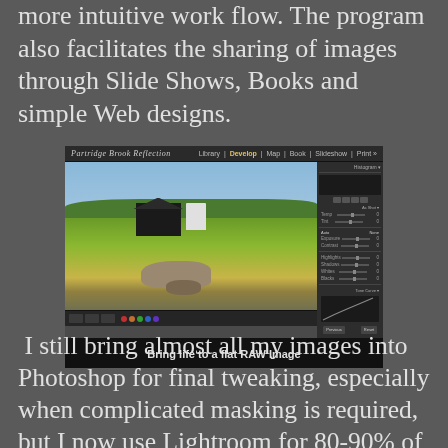more intuitive work flow. The program also facilitates the sharing of images through Slide Shows, Books and simple Web designs.
[Figure (screenshot): Screenshot of Adobe Lightroom showing a RAW photo of a farm with a barn and rocks in a green field, with the Develop module panel visible on the right side.]
Bring life to a flat RAW Image
I still bring almost all my images into Photoshop for final tweaking, especially when complicated masking is required, but I now use Lightroom for 80-90% of my global editing. Given its power and ease of use, for the price it